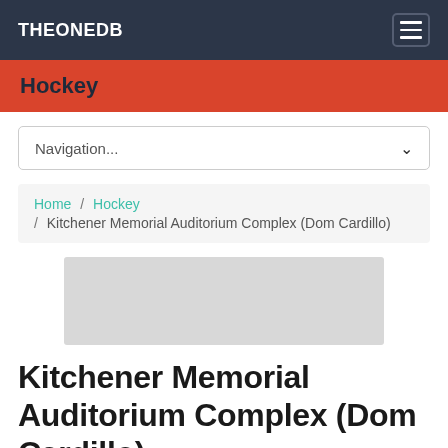THEONEDB
Hockey
Navigation...
Home / Hockey / Kitchener Memorial Auditorium Complex (Dom Cardillo)
[Figure (photo): Gray placeholder image for Kitchener Memorial Auditorium Complex]
Kitchener Memorial Auditorium Complex (Dom Cardillo)